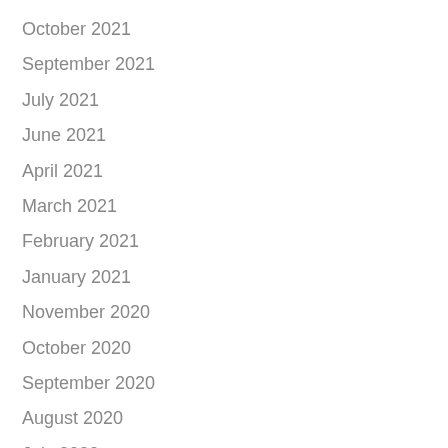October 2021
September 2021
July 2021
June 2021
April 2021
March 2021
February 2021
January 2021
November 2020
October 2020
September 2020
August 2020
July 2020